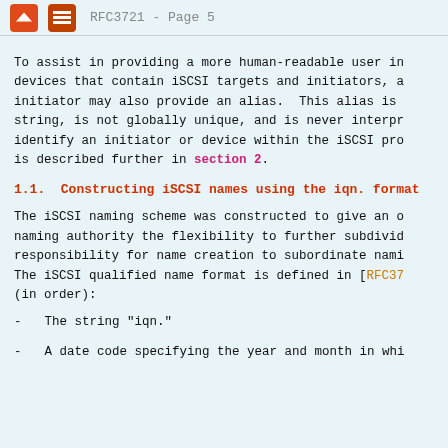RFC3721 - Page 5
To assist in providing a more human-readable user in devices that contain iSCSI targets and initiators, a initiator may also provide an alias.  This alias is string, is not globally unique, and is never interpr identify an initiator or device within the iSCSI pro is described further in section 2.
1.1.  Constructing iSCSI names using the iqn. format
The iSCSI naming scheme was constructed to give an o naming authority the flexibility to further subdivid responsibility for name creation to subordinate nami The iSCSI qualified name format is defined in [RFC37 (in order):
The string "iqn."
A date code specifying the year and month in whi